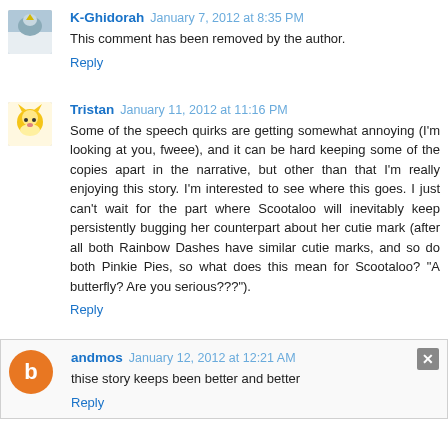K-Ghidorah January 7, 2012 at 8:35 PM
This comment has been removed by the author.
Reply
Tristan January 11, 2012 at 11:16 PM
Some of the speech quirks are getting somewhat annoying (I'm looking at you, fweee), and it can be hard keeping some of the copies apart in the narrative, but other than that I'm really enjoying this story. I'm interested to see where this goes. I just can't wait for the part where Scootaloo will inevitably keep persistently bugging her counterpart about her cutie mark (after all both Rainbow Dashes have similar cutie marks, and so do both Pinkie Pies, so what does this mean for Scootaloo? "A butterfly? Are you serious???").
Reply
andmos January 12, 2012 at 12:21 AM
thise story keeps been better and better
Reply